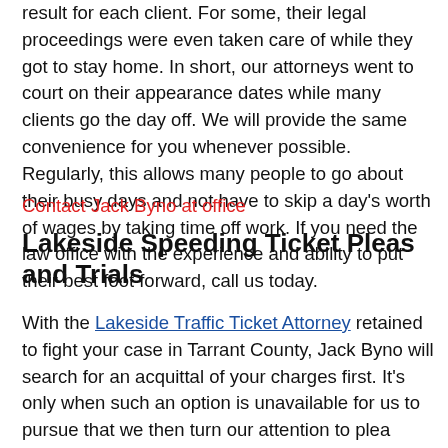result for each client. For some, their legal proceedings were even taken care of while they got to stay home. In short, our attorneys went to court on their appearance dates while many clients go the day off. We will provide the same convenience for you whenever possible. Regularly, this allows many people to go about their busy days and not have to skip a day's worth of wages by taking time off work. If you need the law office with the experience and ability to put their best foot forward, call us today.
Contact Jack Byno at office
Lakeside Speeding Ticket Pleas and Trials
With the Lakeside Traffic Ticket Attorney retained to fight your case in Tarrant County, Jack Byno will search for an acquittal of your charges first. It's only when such an option is unavailable for us to pursue that we then turn our attention to plea negotiations. If a tactic such as plea bargaining is open for your case, we will attempt to reason with the prosecutor in order to reduce charges while attaining a more defensive driving class or